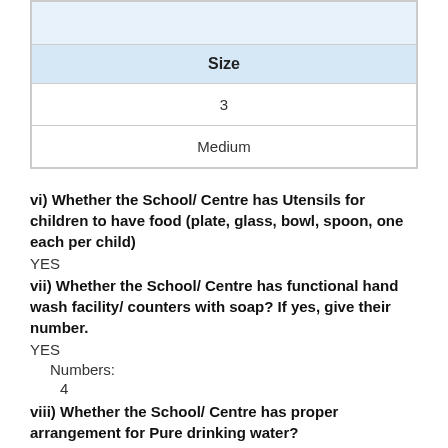| Size |
| --- |
| 3 |
| Medium |
vi) Whether the School/ Centre has Utensils for children to have food (plate, glass, bowl, spoon, one each per child)
YES
vii) Whether the School/ Centre has functional hand wash facility/ counters with soap? If yes, give their number.
YES
Numbers:
4
viii) Whether the School/ Centre has proper arrangement for Pure drinking water?
YES
ix) Whether the School/ Centre has proper arrangement for clean water for washing vegetables, pulses, grains and cleaning used utensils?